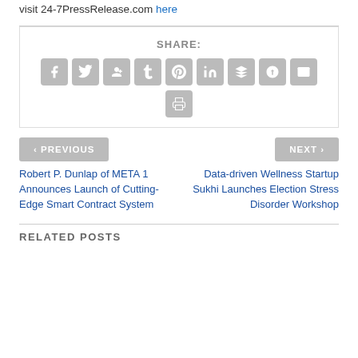visit 24-7PressRelease.com here
[Figure (infographic): Social media share buttons: Facebook, Twitter, Google+, Tumblr, Pinterest, LinkedIn, Buffer, StumbleUpon, Email, Print]
< PREVIOUS
Robert P. Dunlap of META 1 Announces Launch of Cutting-Edge Smart Contract System
NEXT >
Data-driven Wellness Startup Sukhi Launches Election Stress Disorder Workshop
RELATED POSTS